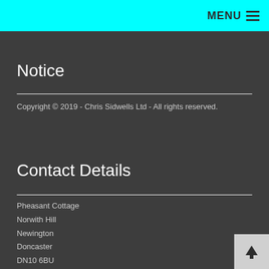MENU ≡
Notice
Copyright © 2019 - Chris Sidwells Ltd - All rights reserved.
Contact Details
Pheasant Cottage
Norwith Hill
Newington
Doncaster
DN10 6BU